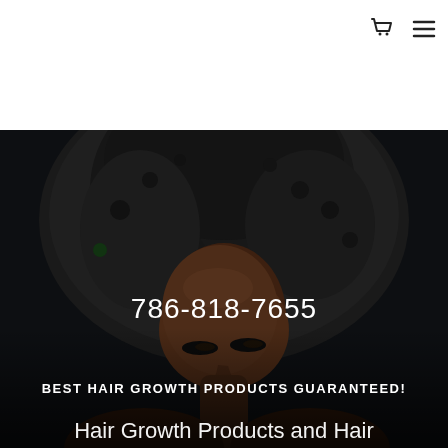[Figure (logo): Stylized green cursive R logo for a hair care brand]
NATURAL CURLS, RELAXED AND KIDS HAIR
[Figure (photo): Close-up photo of a Black woman with a large natural afro hairstyle against a dark background]
786-818-7655
BEST HAIR GROWTH PRODUCTS GUARANTEED!
Hair Growth Products and Hair